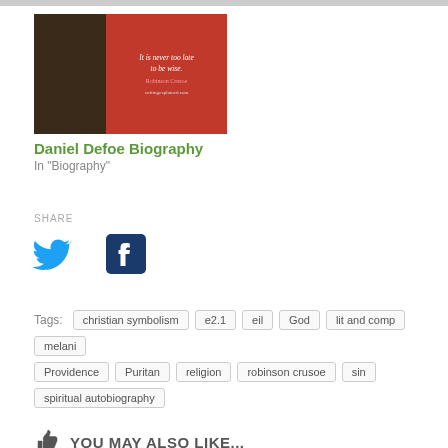[Figure (illustration): Book cover image for Daniel Defoe Biography with dark portrait on left and red panel with quote on right]
Daniel Defoe Biography
In "Biography"
SHARE
[Figure (illustration): Twitter bird social media icon in blue]
[Figure (illustration): Facebook 'f' social media icon in dark blue/navy]
Tags: christian symbolism  e2.1  eil  God  lit and comp  melani  Providence  Puritan  religion  robinson crusoe  sin  spiritual autobiography
YOU MAY ALSO LIKE...